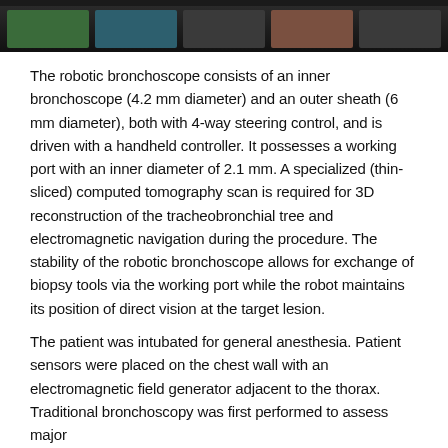[Figure (photo): Dark composite image strip showing bronchoscopy procedure screenshots at the top of the page]
The robotic bronchoscope consists of an inner bronchoscope (4.2 mm diameter) and an outer sheath (6 mm diameter), both with 4-way steering control, and is driven with a handheld controller. It possesses a working port with an inner diameter of 2.1 mm. A specialized (thin-sliced) computed tomography scan is required for 3D reconstruction of the tracheobronchial tree and electromagnetic navigation during the procedure. The stability of the robotic bronchoscope allows for exchange of biopsy tools via the working port while the robot maintains its position of direct vision at the target lesion.
The patient was intubated for general anesthesia. Patient sensors were placed on the chest wall with an electromagnetic field generator adjacent to the thorax. Traditional bronchoscopy was first performed to assess major